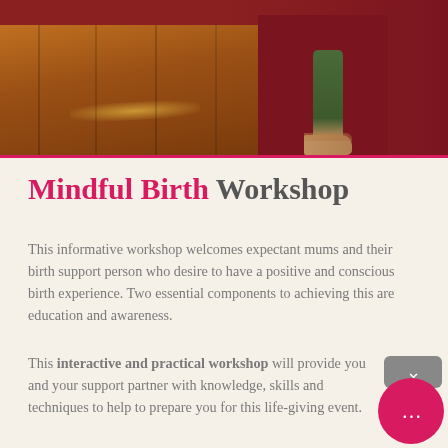[Figure (photo): Photo showing person's feet/legs standing on a wooden floor next to a dark red/maroon yoga mat, viewed from above]
Mindful Birth Workshop
This informative workshop welcomes expectant mums and their birth support person who desire to have a positive and conscious birth experience. Two essential components to achieving this are education and awareness.
This interactive and practical workshop will provide you and your support partner with knowledge, skills and techniques to help to prepare you for this life-giving event.